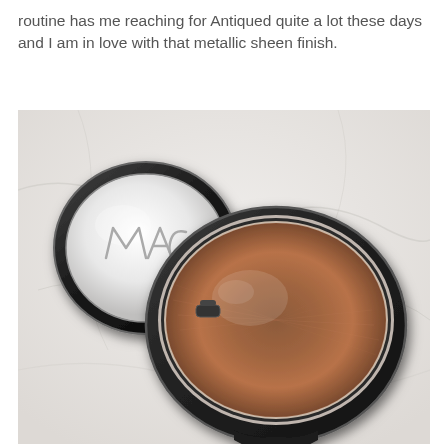routine has me reaching for Antiqued quite a lot these days and I am in love with that metallic sheen finish.
[Figure (photo): Close-up photo of an open MAC eyeshadow compact showing a warm coppery-bronze metallic eyeshadow pan. The compact lid is open revealing the MAC logo in the mirror on the lid. The background is a light marble surface.]